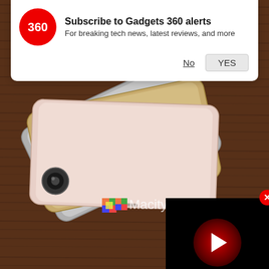[Figure (screenshot): Notification popup from Gadgets 360 asking to subscribe for tech alerts, with No and YES buttons]
[Figure (photo): Multiple iPhone models fanned out on a wood surface, rear view showing cameras, watermarked Macitynet.it]
[Figure (screenshot): Embedded video player overlay in bottom-right with red play button and close X button]
[Figure (infographic): Social share icons: WhatsApp (green), Facebook (blue), Twitter (blue), and scroll-up arrow button]
As the launch of iPhone 7 approaches, rumours and leaks surrounding the next iteration of world's most popular lineup of smartphones are coming from all